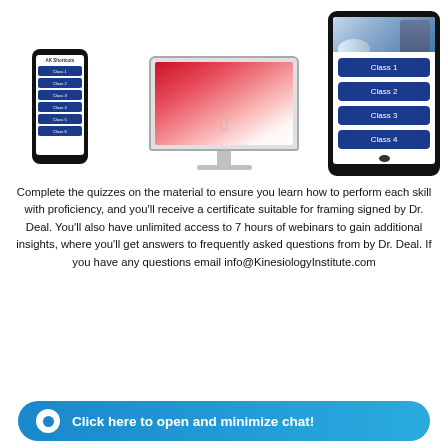[Figure (illustration): Screenshot of online course platform shown on three devices: a smartphone on the left showing AK Shotcuts class list (Class 1 through Class 6 navy buttons), an iMac desktop computer in the center with a red/pink gradient background, and a tablet on the right showing a classroom photo and class buttons (Class 1 through Class 4).]
Complete the quizzes on the material to ensure you learn how to perform each skill with proficiency, and you'll receive a certificate suitable for framing signed by Dr. Deal. You'll also have unlimited access to 7 hours of webinars to gain additional insights, where you'll get answers to frequently asked questions from by Dr. Deal. If you have any questions email info@KinesiologyInstitute.com
Click here to open and minimize chat!